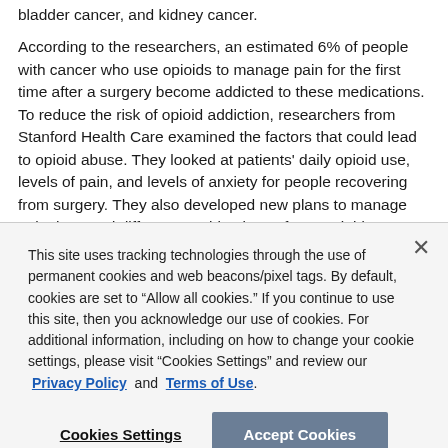bladder cancer, and kidney cancer.
According to the researchers, an estimated 6% of people with cancer who use opioids to manage pain for the first time after a surgery become addicted to these medications. To reduce the risk of opioid addiction, researchers from Stanford Health Care examined the factors that could lead to opioid abuse. They looked at patients' daily opioid use, levels of pain, and levels of anxiety for people recovering from surgery. They also developed new plans to manage pain that used different combinations of non-opioid medications.
This site uses tracking technologies through the use of permanent cookies and web beacons/pixel tags. By default, cookies are set to “Allow all cookies.” If you continue to use this site, then you acknowledge our use of cookies. For additional information, including on how to change your cookie settings, please visit “Cookies Settings” and review our Privacy Policy and Terms of Use.